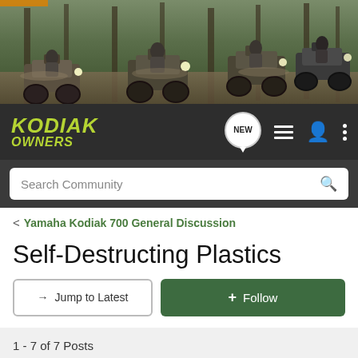[Figure (photo): Banner photo showing ATV riders on muddy forest trails, multiple riders on Yamaha Kodiak ATVs]
[Figure (logo): Kodiak Owners logo in yellow-green italic text on dark background, with navigation icons including NEW speech bubble, list icon, person icon, and more icon]
Search Community
< Yamaha Kodiak 700 General Discussion
Self-Destructing Plastics
→ Jump to Latest
+ Follow
1 - 7 of 7 Posts
TheRadioactiveGinger · Registered
Joined Aug 9, 2017 · 18 Posts